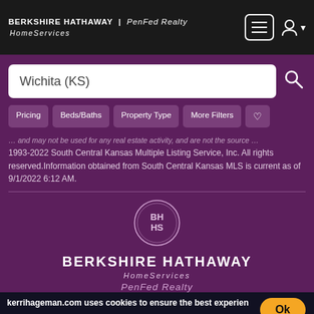BERKSHIRE HATHAWAY | PenFed Realty HomeServices
Wichita (KS)
Pricing
Beds/Baths
Property Type
More Filters
1993-2022 South Central Kansas Multiple Listing Service, Inc. All rights reserved.Information obtained from South Central Kansas MLS is current as of 9/1/2022 6:12 AM.
[Figure (logo): Berkshire Hathaway HomeServices PenFed Realty circular logo with BH HS initials]
BERKSHIRE HATHAWAY HomeServices PenFed Realty
kerrihageman.com uses cookies to ensure the best experien
Learn More
Ok